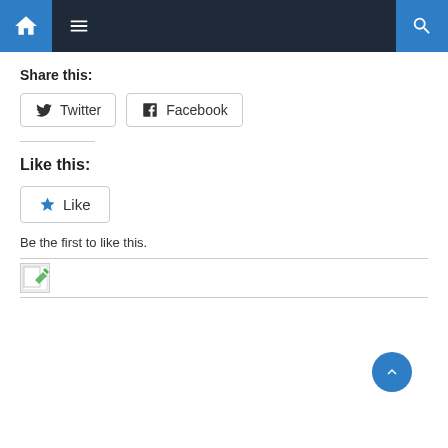Navigation bar with home, menu, and search icons
Share this:
[Figure (screenshot): Share buttons: Twitter and Facebook]
Like this:
[Figure (screenshot): Like button with star icon]
Be the first to like this.
[Figure (screenshot): Broken image placeholder]
[Figure (screenshot): Scroll to top button, blue circle with up arrow, bottom right]